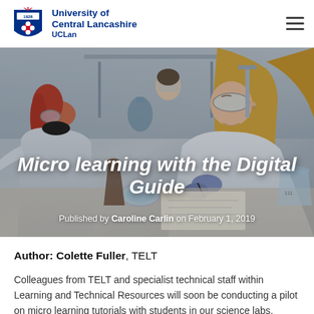University of Central Lancashire UCLan
[Figure (photo): Hero image of students in white lab coats and blue gloves working in a science laboratory, overlaid with the article title and publication metadata.]
Micro learning with the Digital Guide
Published by Caroline Carlin on February 1, 2019
Author: Colette Fuller, TELT
Colleagues from TELT and specialist technical staff within Learning and Technical Resources will soon be conducting a pilot on micro learning tutorials with students in our science labs.